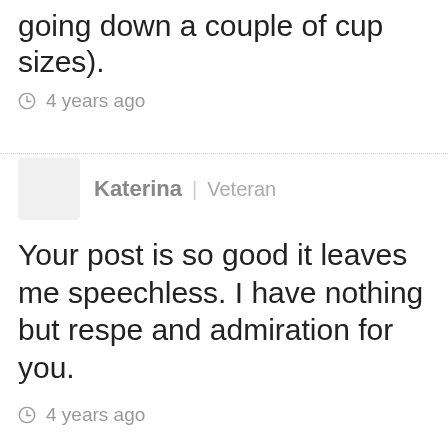going down a couple of cup sizes).
🕐 4 years ago
Katerina | Veteran
Your post is so good it leaves me speechless. I have nothing but respect and admiration for you.
🕐 4 years ago